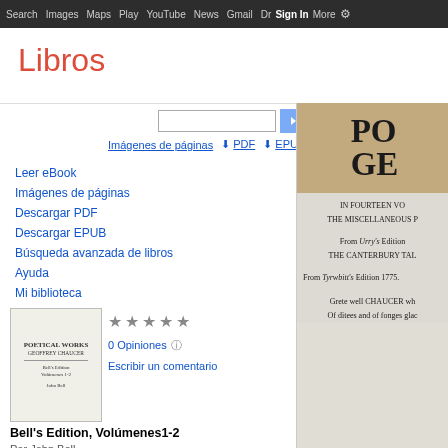Search  Images  Maps  Play  YouTube  News  Gmail  Drive  More  Sign in
Libros
Leer eBook
Imágenes de páginas
Descargar PDF
Descargar EPUB
Búsqueda avanzada de libros
Ayuda
Mi biblioteca
0 Opiniones
Escribir un comentario
[Figure (screenshot): Book thumbnail showing a printed title page]
Bell's Edition, Volúmenes1-2
Por John Bell
[Figure (photo): Partial view of a book page showing text: PO GE IN FOURTEEN VO THE MISCELLANEOUS P From Urry's Edition THE CANTERBURY TAL From Tyrwbitt's Edition 1775. Grete well CHAUCER wh Of ditees and of fonges glac]